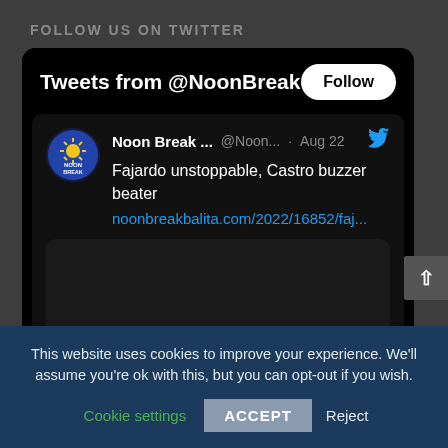FOLLOW US ON TWITTER
[Figure (screenshot): Twitter widget showing Tweets from @NoonBreak with a Follow button, and a tweet by Noon Break saying 'Fajardo unstoppable, Castro buzzer beater' with a link to noonbreakbalita.com/2022/16852/faj... and an image preview area]
This website uses cookies to improve your experience. We'll assume you're ok with this, but you can opt-out if you wish.
Cookie settings  ACCEPT  Reject